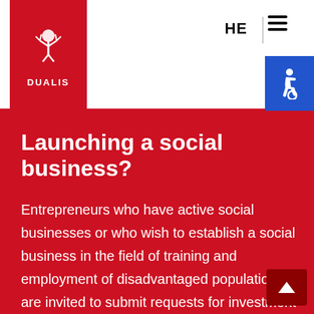[Figure (logo): DUALIS logo - red square with white tree/figure icon and DUALIS text]
HE
Launching a social business?
Entrepreneurs who have active social businesses or who wish to establish a social business in the field of training and employment of disadvantaged populations are invited to submit requests for investment and partnership of the initiative.